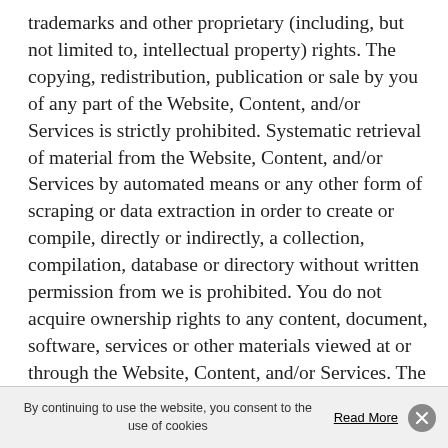trademarks and other proprietary (including, but not limited to, intellectual property) rights. The copying, redistribution, publication or sale by you of any part of the Website, Content, and/or Services is strictly prohibited. Systematic retrieval of material from the Website, Content, and/or Services by automated means or any other form of scraping or data extraction in order to create or compile, directly or indirectly, a collection, compilation, database or directory without written permission from we is prohibited. You do not acquire ownership rights to any content, document, software, services or other materials viewed at or through the Website, Content, and/or Services. The posting of information or material on the Website, or by and through the Services, by us does not constitute a waiver of any right in or to such information and/or materials. Our name and logo, and all associated
By continuing to use the website, you consent to the use of cookies   Read More